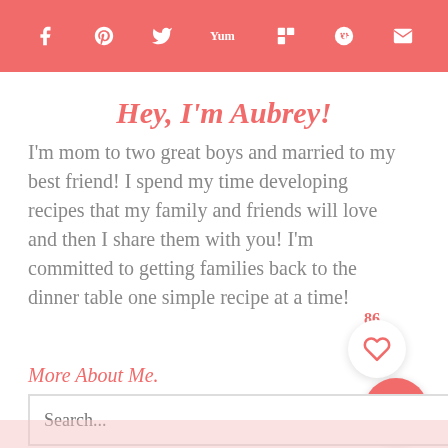Social share bar with icons: Facebook, Pinterest, Twitter, Yummly, Flipboard, Reddit, Email
Hey, I'm Aubrey!
I'm mom to two great boys and married to my best friend! I spend my time developing recipes that my family and friends will love and then I share them with you! I'm committed to getting families back to the dinner table one simple recipe at a time!
More About Me.
Search...